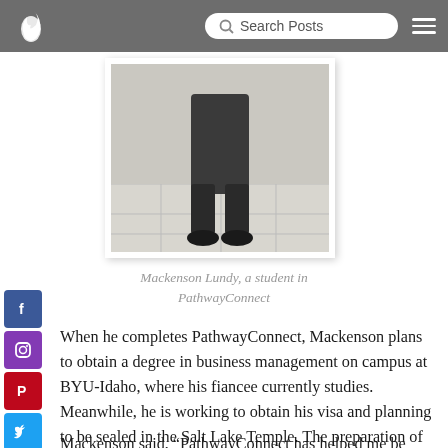Search Posts
[Figure (photo): Photo of Mackenson Lundy, a student in PathwayConnect, showing lower body standing on tiled floor wearing black clothing and boots]
Mackenson Lundy, a student in PathwayConnect
When he completes PathwayConnect, Mackenson plans to obtain a degree in business management on campus at BYU-Idaho, where his fiancee currently studies. Meanwhile, he is working to obtain his visa and planning to be sealed in the Salt Lake Temple. The preparation of providing for a family has given him further incentive to be self-reliant and save money.
Mackenson said, “PathwayConnect has helped me be more economically minded, and I will become